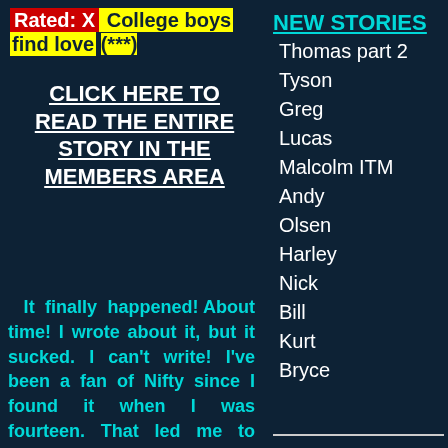Rated: X College boys find love (***)
CLICK HERE TO READ THE ENTIRE STORY IN THE MEMBERS AREA
NEW STORIES
Thomas part 2
Tyson
Greg
Lucas
Malcolm ITM
Andy
Olsen
Harley
Nick
Bill
Kurt
Bryce
It finally happened! About time! I wrote about it, but it sucked. I can't write! I've been a fan of Nifty since I found it when I was fourteen. That led me to Ray's Stories. And now that it finally happened to